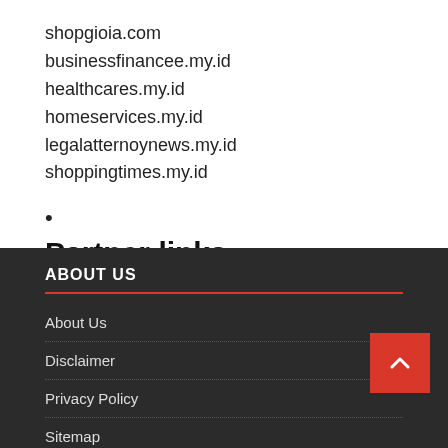shopgioia.com
businessfinancee.my.id
healthcares.my.id
homeservices.my.id
legalatternoynews.my.id
shoppingtimes.my.id
•
Partner links
ABOUT US
About Us
Disclaimer
Privacy Policy
Sitemap